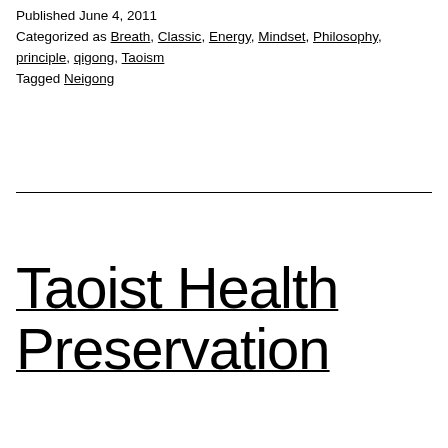Published June 4, 2011
Categorized as Breath, Classic, Energy, Mindset, Philosophy, principle, qigong, Taoism
Tagged Neigong
Taoist Health Preservation